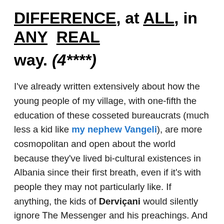DIFFERENCE, at ALL, in ANY REAL way. (4****)
I've already written extensively about how the young people of my village, with one-fifth the education of these cosseted bureaucrats (much less a kid like my nephew Vangeli), are more cosmopolitan and open about the world because they've lived bi-cultural existences in Albania since their first breath, even if it's with people they may not particularly like. If anything, the kids of Derviçani would silently ignore The Messenger and his preachings. And if The Messenger dared to get angry and nasty and foul-mouthed with them because his prophecies weren't being heeded, as he always does with everyone who